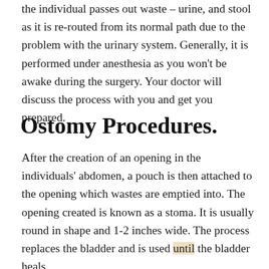the individual passes out waste – urine, and stool as it is re-routed from its normal path due to the problem with the urinary system. Generally, it is performed under anesthesia as you won't be awake during the surgery. Your doctor will discuss the process with you and get you prepared.
Ostomy Procedures.
After the creation of an opening in the individuals' abdomen, a pouch is then attached to the opening which wastes are emptied into. The opening created is known as a stoma. It is usually round in shape and 1-2 inches wide. The process replaces the bladder and is used until the bladder heals.